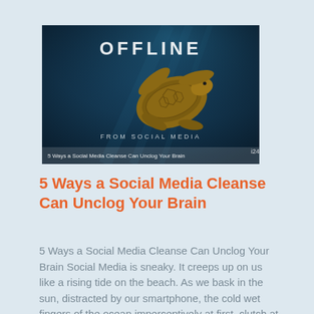[Figure (photo): Photo showing a sea turtle swimming underwater with text 'OFFLINE FROM SOCIAL MEDIA' and subtitle '5 Ways a Social Media Cleanse Can Unclog Your Brain']
5 Ways a Social Media Cleanse Can Unclog Your Brain
5 Ways a Social Media Cleanse Can Unclog Your Brain Social Media is sneaky. It creeps up on us like a rising tide on the beach. As we bask in the sun, distracted by our smartphone, the cold wet fingers of the ocean imperceptively at first, clutch at our toes and before [...]